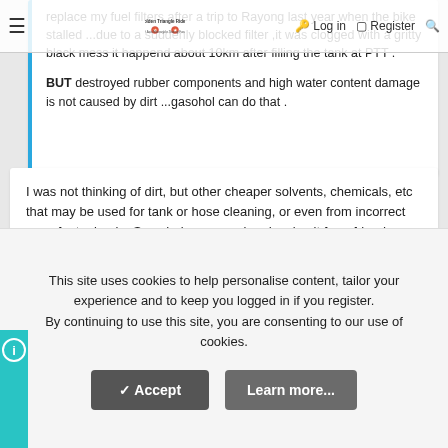Golden Triangle Riders — SE Asia Motorcycle Touring Forum — Log in | Register
replace my fuel filters after a trip to Rayong last year when the bike stalled ...due to a suddenly blocked filter ,it was clogged with a gritty black mess it happend about 10km after filling the tank at PTT .
BUT destroyed rubber components and high water content damage is not caused by dirt ...gasohol can do that .
I was not thinking of dirt, but other cheaper solvents, chemicals, etc that may be used for tank or hose cleaning, or even from incorrect use of a tanker by Somchai, on a weekend, using it for a friend. Does it happen, I do not know, as I said, just a thought.
ray23
Ol'Timer
This site uses cookies to help personalise content, tailor your experience and to keep you logged in if you register. By continuing to use this site, you are consenting to our use of cookies.